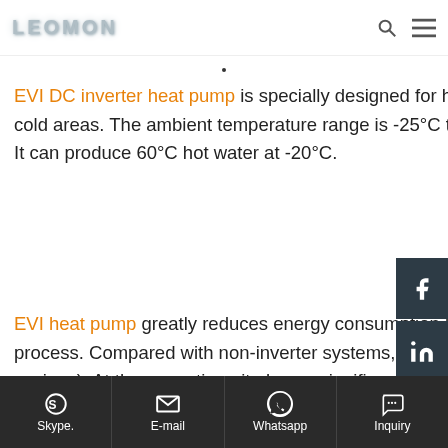LEOMON
EVI DC inverter heat pump is specially designed for household heating and sanitary hot water in cold areas. The ambient temperature range is -25°C to 43°C. Strong low temperature heating ability. It can produce 60°C hot water at -20°C.
EVI heat pump greatly reduces energy consumption by minimizing the energy loss in the heating process. Compared with non-inverter systems, operating costs are significantly reduced (up to 50% savings). At the same time, it plays a significant role in reducing noise and prolonging the service life of the heat pump.
Skype. | E-mail | Whatsapp | Inquiry